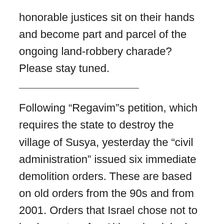honorable justices sit on their hands and become part and parcel of the ongoing land-robbery charade? Please stay tuned.
Following “Regavim”s petition, which requires the state to destroy the village of Susya, yesterday the “civil administration” issued six immediate demolition orders. These are based on old orders from the 90s and from 2001. Orders that Israel chose not to implement so far. Although original orders applied to individual structures, these new orders are applied to continuous, thousands of square meters, includes dozens of buildings in some of them. The orders apply to most of the village of Susya. Among the expected to be demolished, kindergarten, clinic and renewable solar systems, the only electricity source in